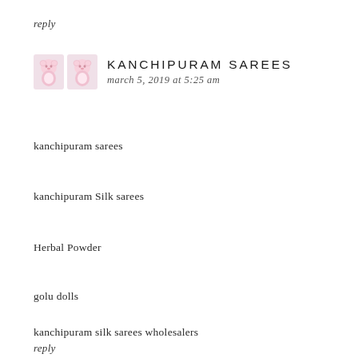reply
KANCHIPURAM SAREES
march 5, 2019 at 5:25 am
kanchipuram sarees
kanchipuram Silk sarees
Herbal Powder
golu dolls
kanchipuram silk sarees wholesalers
reply